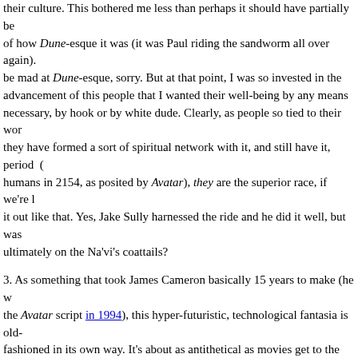their culture. This bothered me less than perhaps it should have partially be- of how Dune-esque it was (it was Paul riding the sandworm all over again). be mad at Dune-esque, sorry. But at that point, I was so invested in the advancement of this people that I wanted their well-being by any means necessary, by hook or by white dude. Clearly, as people so tied to their wor- they have formed a sort of spiritual network with it, and still have it, period ( humans in 2154, as posited by Avatar), they are the superior race, if we're l- it out like that. Yes, Jake Sully harnessed the ride and he did it well, but was ultimately on the Na'vi's coattails?
3. As something that took James Cameron basically 15 years to make (he w- the Avatar script in 1994), this hyper-futuristic, technological fantasia is old-fashioned in its own way. It's about as antithetical as movies get to the get-i- done-do-it-cheap ethic of today. Furthermore, as someone who often gets 2 hours to a week (tops!) to really think about something, I felt like this movie fireworks display of a reminder of the worth in slow-cooking and taking time it right. I hope it proves to be as inspiring as I think it is.
4. I'm seeing this again (in 3-D IMAX again) tomorrow night. Follow suit or b- jealous.
December 21, 2009 in Filmses | Permalink
Comments